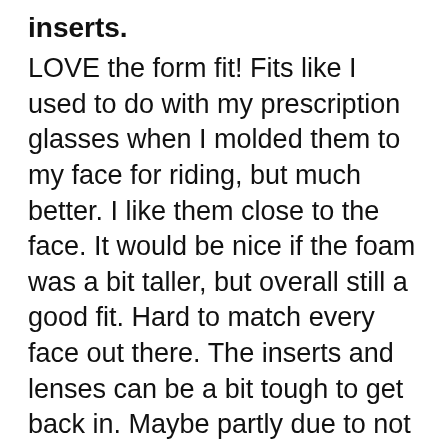inserts.
LOVE the form fit! Fits like I used to do with my prescription glasses when I molded them to my face for riding, but much better. I like them close to the face. It would be nice if the foam was a bit taller, but overall still a good fit. Hard to match every face out there. The inserts and lenses can be a bit tough to get back in. Maybe partly due to not wanting to damage the frames. The restraint is actually a bit long for me even cinched up all the way lol. But will still keep from falling off completely if